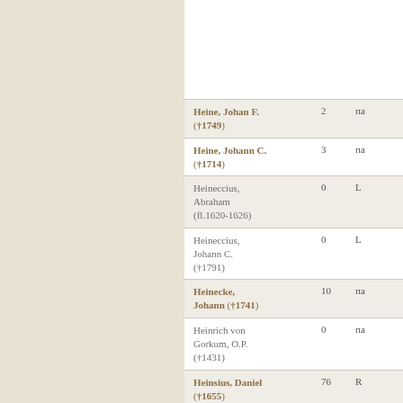| Name | Count | Abbr |
| --- | --- | --- |
| Heine, Johan F. (†1749) | 2 | па |
| Heine, Johann C. (†1714) | 3 | па |
| Heineccius, Abraham (fl.1620-1626) | 0 | L |
| Heineccius, Johann C. (†1791) | 0 | L |
| Heinecke, Johann (†1741) | 10 | па |
| Heinrich von Gorkum, O.P. (†1431) | 0 | па |
| Heinsius, Daniel (†1655) | 76 | R |
| Heinsius, Ulrich (†1684) | 7 | L |
| Heisen, Heinrich (†1770) | 2 | L R |
| Helborn, Peter | 3 |  |